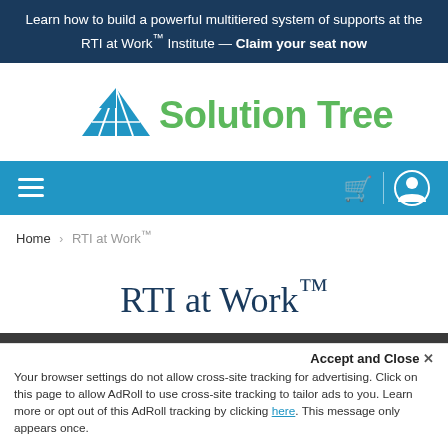Learn how to build a powerful multitiered system of supports at the RTI at Work™ Institute — Claim your seat now
[Figure (logo): Solution Tree logo with blue triangle/pyramid icon and green 'Solution Tree' wordmark]
[Figure (screenshot): Blue navigation bar with hamburger menu icon on left, shopping cart and user account icons on right]
Home › RTI at Work™
RTI at Work™
Accept and Close ✕
Your browser settings do not allow cross-site tracking for advertising. Click on this page to allow AdRoll to use cross-site tracking to tailor ads to you. Learn more or opt out of this AdRoll tracking by clicking here. This message only appears once.